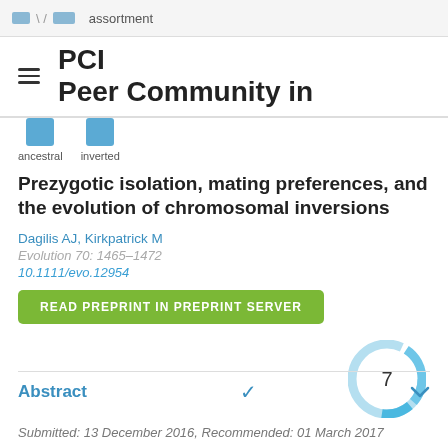assortment
[Figure (logo): PCI Peer Community in logo with hamburger menu icon]
[Figure (illustration): Two blue squares labeled 'ancestral' and 'inverted']
Prezygotic isolation, mating preferences, and the evolution of chromosomal inversions
Dagilis AJ, Kirkpatrick M
Evolution 70: 1465–1472
10.1111/evo.12954
READ PREPRINT IN PREPRINT SERVER
[Figure (infographic): Altmetric donut badge showing score 7]
Abstract
Submitted: 13 December 2016, Recommended: 01 March 2017